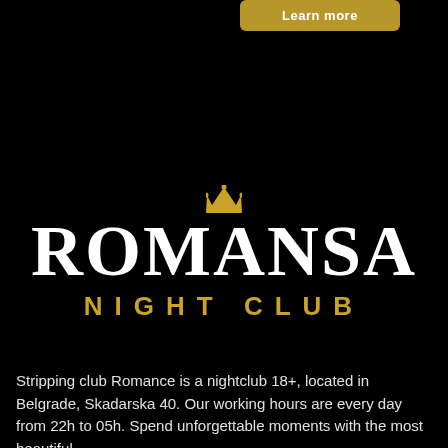[Figure (logo): Gold 'Learn more' button at top]
[Figure (logo): Romansa Night Club logo with gold crown above letter A, white bold ROMANSA text, gold NIGHT CLUB text below]
Stripping club Romance is a nightclub 18+, located in Belgrade, Skadarska 40. Our working hours are every day from 22h to 05h. Spend unforgettable moments with the most beautiful